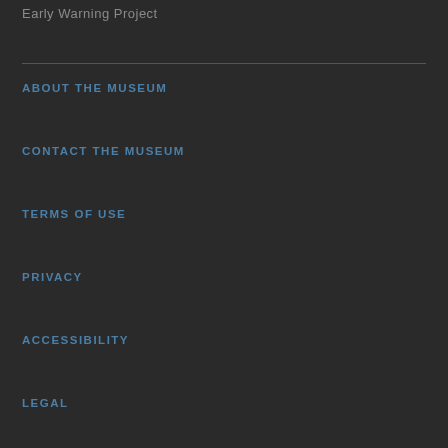Early Warning Project
ABOUT THE MUSEUM
CONTACT THE MUSEUM
TERMS OF USE
PRIVACY
ACCESSIBILITY
LEGAL